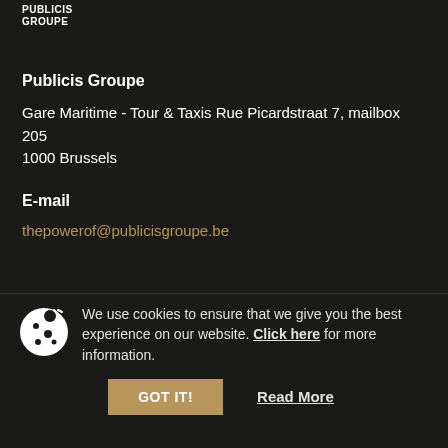PUBLICIS GROUPE
Publicis Groupe
Gare Maritime - Tour & Taxis Rue Picardstraat 7, mailbox 205
1000 Brussels
E-mail
thepowerof@publicisgroupe.be
Phone
We use cookies to ensure that we give you the best experience on our website. Click here for more information.
GOT IT!
Read More